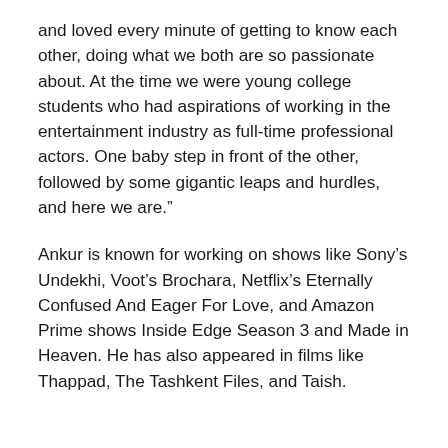and loved every minute of getting to know each other, doing what we both are so passionate about. At the time we were young college students who had aspirations of working in the entertainment industry as full-time professional actors. One baby step in front of the other, followed by some gigantic leaps and hurdles, and here we are.”
Ankur is known for working on shows like Sony’s Undekhi, Voot’s Brochara, Netflix’s Eternally Confused And Eager For Love, and Amazon Prime shows Inside Edge Season 3 and Made in Heaven. He has also appeared in films like Thappad, The Tashkent Files, and Taish.